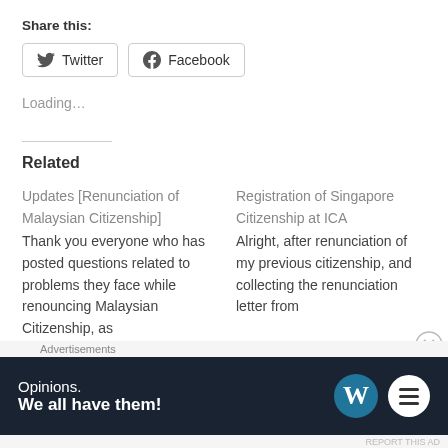Share this:
Twitter   Facebook
Loading…
Related
Updates [Renunciation of Malaysian Citizenship]
Thank you everyone who has posted questions related to problems they face while renouncing Malaysian Citizenship, as
July 10, 2020
Registration of Singapore Citizenship at ICA
Alright, after renunciation of my previous citizenship, and collecting the renunciation letter from
Advertisements
Opinions. We all have them!